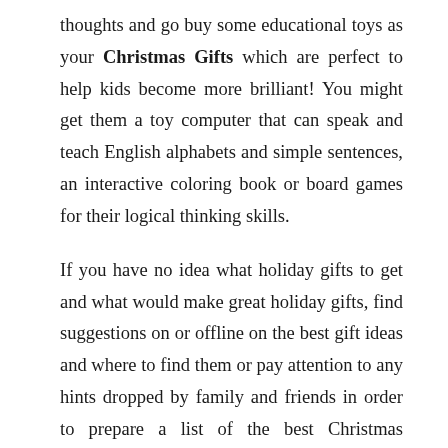thoughts and go buy some educational toys as your Christmas Gifts which are perfect to help kids become more brilliant! You might get them a toy computer that can speak and teach English alphabets and simple sentences, an interactive coloring book or board games for their logical thinking skills.
If you have no idea what holiday gifts to get and what would make great holiday gifts, find suggestions on or offline on the best gift ideas and where to find them or pay attention to any hints dropped by family and friends in order to prepare a list of the best Christmas presents.
Christmas tree to remind me of the love, excitement and joy of that beautiful quality of a child who gives with no expectation whatsoever of anything in return but to make the other joyous and happy. It is also a reminder of my beautiful mother who passed some 20 years ago. So my little wizard is my little Christmas